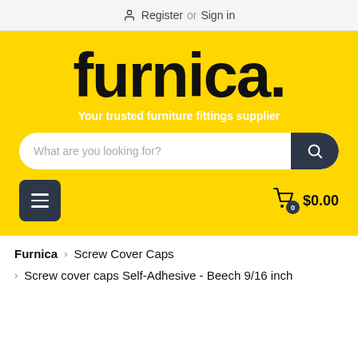Register or Sign in
[Figure (logo): Furnica logo with large black bold text 'furnica.' on yellow background]
Your trusted furniture fittings supplier
What are you looking for?
0  $0.00
Furnica  >  Screw Cover Caps
> Screw cover caps Self-Adhesive - Beech 9/16 inch